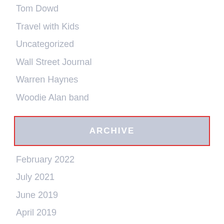Tom Dowd
Travel with Kids
Uncategorized
Wall Street Journal
Warren Haynes
Woodie Alan band
ARCHIVE
February 2022
July 2021
June 2019
April 2019
March 2019
February 2019
January 2019
October 2018